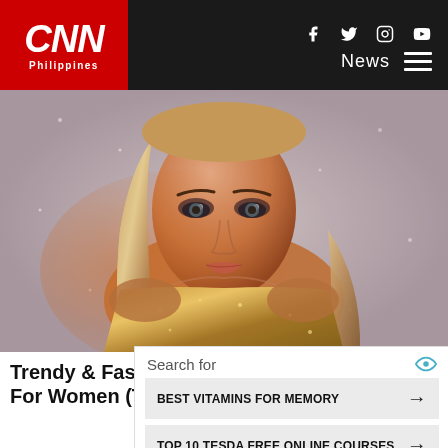[Figure (logo): CNN Philippines logo on red background in top-left navigation bar]
CNN Philippines | News | Social icons: Facebook, Twitter, Instagram, YouTube
[Figure (photo): Fashion photo of a young blonde woman wearing a sparkly gold sequin dress, styled with dramatic eye makeup, against a glittery silver background]
Trendy & Fashionable Short Dresses For Women (Take A Peek).
Search for
BEST VITAMINS FOR MEMORY →
TOP 10 TESDA FREE ONLINE COURSES →
Ad | Business Focus